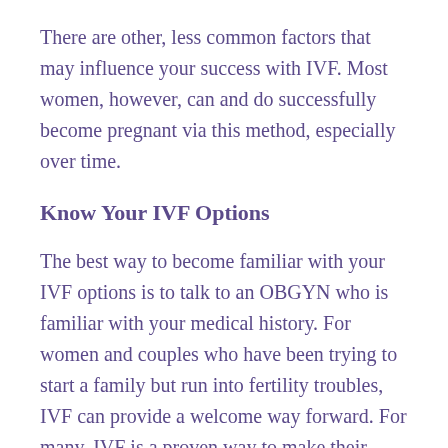There are other, less common factors that may influence your success with IVF. Most women, however, can and do successfully become pregnant via this method, especially over time.
Know Your IVF Options
The best way to become familiar with your IVF options is to talk to an OBGYN who is familiar with your medical history. For women and couples who have been trying to start a family but run into fertility troubles, IVF can provide a welcome way forward. For many, IVF is a proven way to make their dreams of having children become reality.